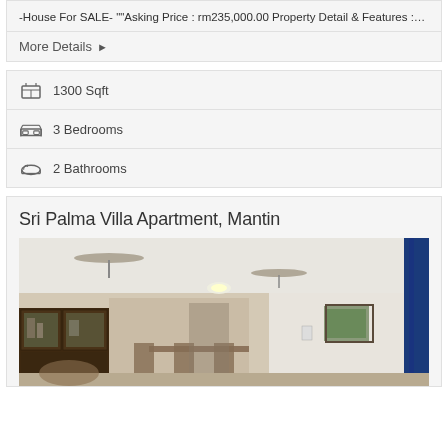-House For SALE- ""Asking Price : rm235,000.00 Property Detail & Features :…
More Details ▶
1300 Sqft
3 Bedrooms
2 Bathrooms
Sri Palma Villa Apartment, Mantin
[Figure (photo): Interior photo of an apartment living/dining area with ceiling fans, dark wood furniture cabinet, dining table and chairs, and a framed picture on the white wall]